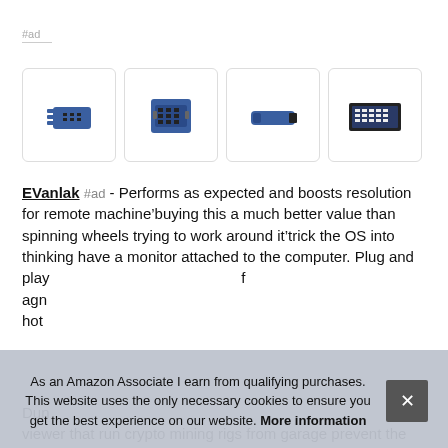#ad
[Figure (photo): Four product images of blue DVI/VGA connector adapters shown in a row in white rounded-corner boxes]
EVanlak #ad - Performs as expected and boosts resolution for remote machine buying this a much better value than spinning wheels trying to work around it trick the OS into thinking have a monitor attached to the computer. Plug and play ... agn... hot...
Dun... viewer that run crypto mining rigs from garage prevent the
As an Amazon Associate I earn from qualifying purchases. This website uses the only necessary cookies to ensure you get the best experience on our website. More information